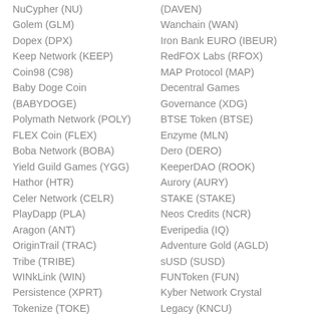NuCypher (NU)
Golem (GLM)
Dopex (DPX)
Keep Network (KEEP)
Coin98 (C98)
Baby Doge Coin (BABYDOGE)
Polymath Network (POLY)
FLEX Coin (FLEX)
Boba Network (BOBA)
Yield Guild Games (YGG)
Hathor (HTR)
Celer Network (CELR)
PlayDapp (PLA)
Aragon (ANT)
OriginTrail (TRAC)
Tribe (TRIBE)
WINkLink (WIN)
Persistence (XPRT)
Tokenize (TOKE)
(DAVEN)
Wanchain (WAN)
Iron Bank EURO (IBEUR)
RedFOX Labs (RFOX)
MAP Protocol (MAP)
Decentral Games Governance (XDG)
BTSE Token (BTSE)
Enzyme (MLN)
Dero (DERO)
KeeperDAO (ROOK)
Aurory (AURY)
STAKE (STAKE)
Neos Credits (NCR)
Everipedia (IQ)
Adventure Gold (AGLD)
sUSD (SUSD)
FUNToken (FUN)
Kyber Network Crystal
Legacy (KNCU)